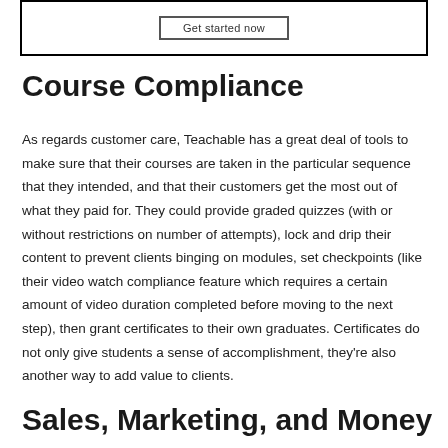[Figure (screenshot): Partial view of a bordered box with a 'Get started now' button inside]
Course Compliance
As regards customer care, Teachable has a great deal of tools to make sure that their courses are taken in the particular sequence that they intended, and that their customers get the most out of what they paid for. They could provide graded quizzes (with or without restrictions on number of attempts), lock and drip their content to prevent clients binging on modules, set checkpoints (like their video watch compliance feature which requires a certain amount of video duration completed before moving to the next step), then grant certificates to their own graduates. Certificates do not only give students a sense of accomplishment, they're also another way to add value to clients.
Sales, Marketing, and Money